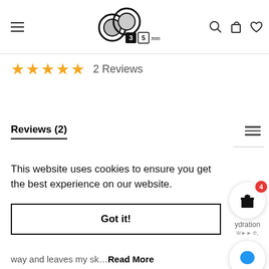35mm logo navigation header with hamburger menu, search, cart, and wishlist icons
★★★★★ 2 Reviews
Reviews (2)
This website uses cookies to ensure you get the best experience on our website.
Got it!
way and leaves my sk…Read More